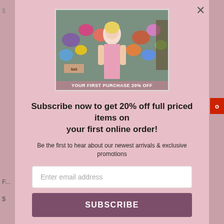[Figure (photo): Promotional image of a young woman in a pink dress standing in a flower shop, with text overlay 'YOUR FIRST PURCHASE 20% OFF' and an SAS logo]
Subscribe now to get 20% off full priced items on your first online order!
Be the first to hear about our newest arrivals & exclusive promotions
Enter email address
SUBSCRIBE